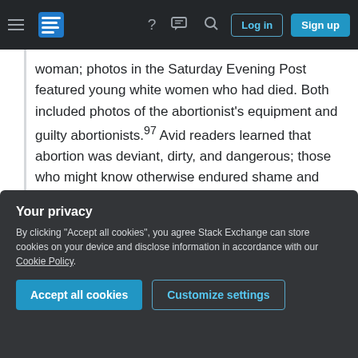Navigation bar with hamburger menu, Stack Exchange logo, help icon, chat icon, search icon, Log in button, Sign up button
woman; photos in the Saturday Evening Post featured young white women who had died. Both included photos of the abortionist's equipment and guilty abortionists.²97 Avid readers learned that abortion was deviant, dirty, and dangerous; those who might know otherwise endured shame and secrecy.
— Leslie J Reagan: "Dangerous Pregnancies: Mothers, Disabilities, and Abortion in Modern America", University of
Your privacy
By clicking “Accept all cookies”, you agree Stack Exchange can store cookies on your device and disclose information in accordance with our Cookie Policy.
Accept all cookies   Customize settings
available numbers underreport systematically the